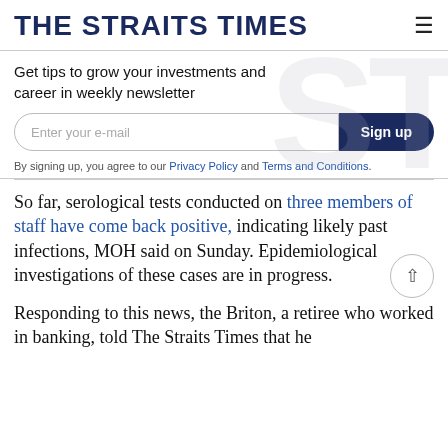THE STRAITS TIMES
Get tips to grow your investments and career in weekly newsletter
Enter your e-mail  Sign up
By signing up, you agree to our Privacy Policy and Terms and Conditions.
So far, serological tests conducted on three members of staff have come back positive, indicating likely past infections, MOH said on Sunday. Epidemiological investigations of these cases are in progress.
Responding to this news, the Briton, a retiree who worked in banking, told The Straits Times that he